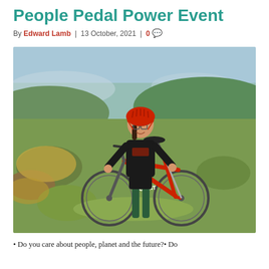People Pedal Power Event
By Edward Lamb | 13 October, 2021 | 0 💬
[Figure (photo): A young girl wearing a red cycling helmet, glasses, and a black cycling jersey stands next to a red Giant road bicycle on a grassy hillside with open countryside and hills in the background.]
• Do you care about people, planet and the future?• Do